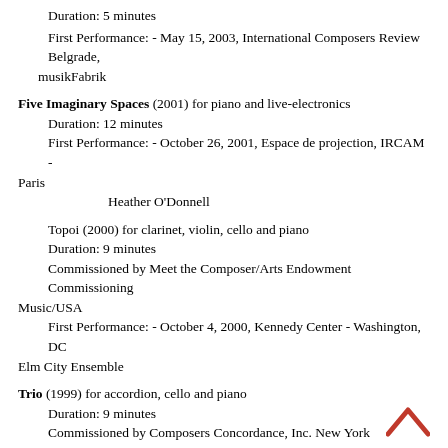Duration: 5 minutes
First Performance:    - May 15, 2003, International Composers Review Belgrade,
  musikFabrik
Five Imaginary Spaces (2001) for piano and live-electronics
    Duration: 12 minutes
    First Performance:     - October 26, 2001, Espace de projection, IRCAM - Paris
            Heather O'Donnell
Topoi (2000) for clarinet, violin, cello and piano
    Duration: 9 minutes
    Commissioned by Meet the Composer/Arts Endowment Commissioning Music/USA
    First Performance:      - October 4, 2000, Kennedy Center - Washington, DC Elm City Ensemble
Trio (1999) for accordion, cello and piano
    Duration: 9 minutes
    Commissioned by Composers Concordance, Inc. New York
    First Performance:     - February 25, 1999, Kosciuszko Foundation - New York City
    Mikko Luoma; John Whitfield; Heather O'Donnell
Suite for Four (1999) for Baroque cello, flute, oboe and trumpet
    Duration: 15 minutes
    Commissioned by CrossSound Festival
    First Performance:     - July 10, 1999, Northern Lights Church - Juneau, Alaska